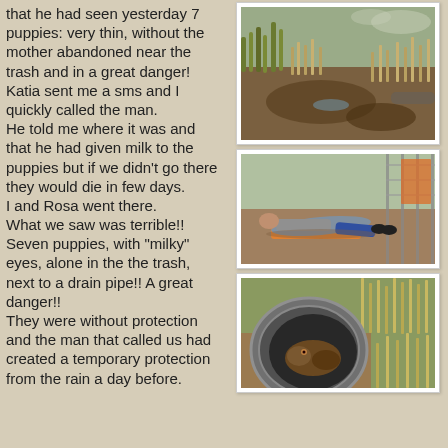that he had seen yesterday 7 puppies: very thin, without the mother abandoned near the trash and in a great danger!
Katia sent me a sms and I quickly called the man.
He told me where it was and that he had given milk to the puppies but if we didn't go there they would die in few days.
I and Rosa went there.
What we saw was terrible!!
Seven puppies, with "milky" eyes, alone in the the trash, next to a drain pipe!! A great danger!!
They were without protection and the man that called us had created a temporary protection from the rain a day before.
[Figure (photo): Outdoor scene showing grassy and muddy terrain near a trash area, with dry grass and a drain pipe visible]
[Figure (photo): Person lying on the ground on an orange cloth near a wire fence, looking under or into something]
[Figure (photo): Close-up of a large concrete drain pipe with a puppy or animal visible inside, surrounded by grass]